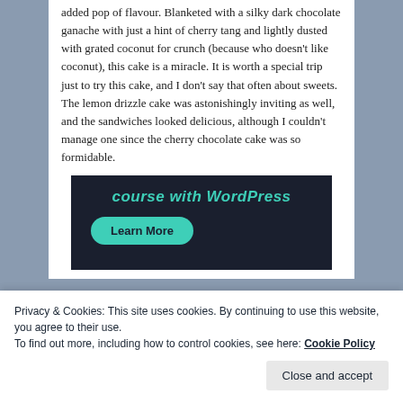added pop of flavour. Blanketed with a silky dark chocolate ganache with just a hint of cherry tang and lightly dusted with grated coconut for crunch (because who doesn't like coconut), this cake is a miracle. It is worth a special trip just to try this cake, and I don't say that often about sweets. The lemon drizzle cake was astonishingly inviting as well, and the sandwiches looked delicious, although I couldn't manage one since the cherry chocolate cake was so formidable.
[Figure (screenshot): Dark background advertisement banner with teal text 'course with WordPress' and a teal rounded 'Learn More' button]
Privacy & Cookies: This site uses cookies. By continuing to use this website, you agree to their use.
To find out more, including how to control cookies, see here: Cookie Policy
Close and accept